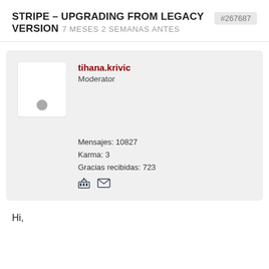STRIPE – UPGRADING FROM LEGACY VERSION   7 MESES 2 SEMANAS ANTES   #267687
[Figure (screenshot): User profile card for tihana.krivic (Moderator) showing avatar placeholder, Mensajes: 10827, Karma: 3, Gracias recibidas: 723, with birthday cake and mail icons]
Hi,